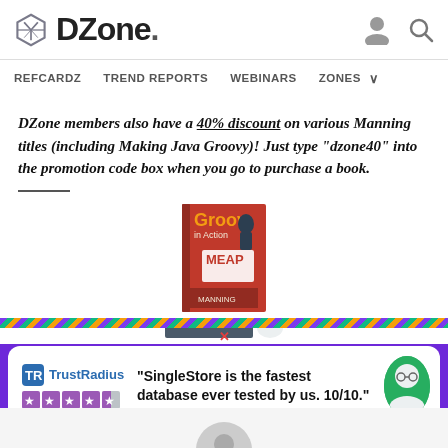DZone. — REFCARDZ  TREND REPORTS  WEBINARS  ZONES
DZone members also have a 40% discount on various Manning titles (including Making Java Groovy)!  Just type "dzone40" into the promotion code box when you go to purchase a book.
[Figure (photo): Book cover for 'Groovy in Action' with MEAP label]
[Figure (screenshot): TrustRadius ad banner: '"SingleStore is the fastest database ever tested by us. 10/10."' with star rating and avatar]